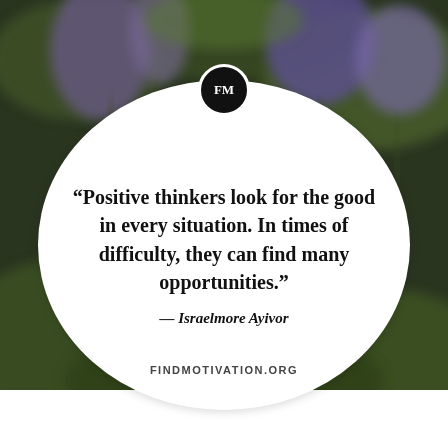[Figure (photo): A blurred photograph of purple lavender or wildflowers with dark green foliage as the background. A white oval card is overlaid in the center with a motivational quote. A circular black FM logo sits at the top of the oval.]
“Positive thinkers look for the good in every situation. In times of difficulty, they can find many opportunities.” — Israelmore Ayivor
FINDMOTIVATION.ORG